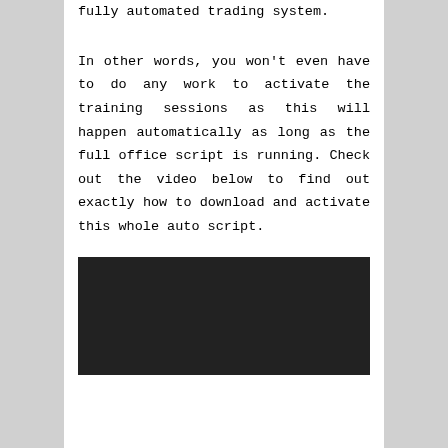fully automated trading system.
In other words, you won't even have to do any work to activate the training sessions as this will happen automatically as long as the full office script is running. Check out the video below to find out exactly how to download and activate this whole auto script.
[Figure (other): Dark/black video player placeholder rectangle]